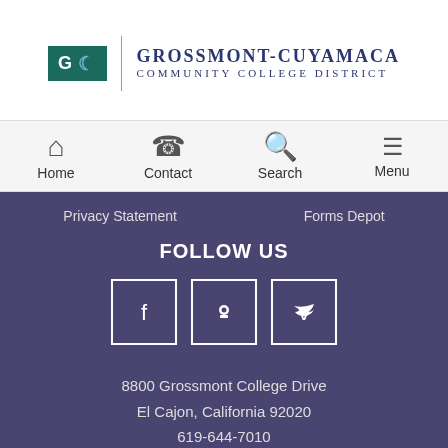[Figure (logo): Grossmont-Cuyamaca Community College District logo with GC initials and district name]
Home  Contact  Search  Menu
Privacy Statement  Forms Depot
FOLLOW US
[Figure (illustration): Social media icons: Facebook, Blogger, Twitter]
8800 Grossmont College Drive
El Cajon, California 92020
619-644-7010